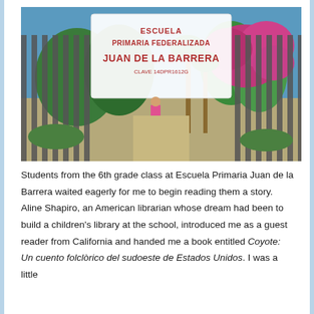[Figure (photo): Photo of the entrance gate of Escuela Primaria Federalizada Juan de la Barrera, with a white arch bearing the school name in red letters (CLAVE 14DPR1612G), flanked by metal fence slats, with bougainvillea flowers and palm trees in the background, and a student in pink visible through the gate.]
Students from the 6th grade class at Escuela Primaria Juan de la Barrera waited eagerly for me to begin reading them a story. Aline Shapiro, an American librarian whose dream had been to build a children's library at the school, introduced me as a guest reader from California and handed me a book entitled Coyote: Un cuento folclòrico del sudoeste de Estados Unidos. I was a little